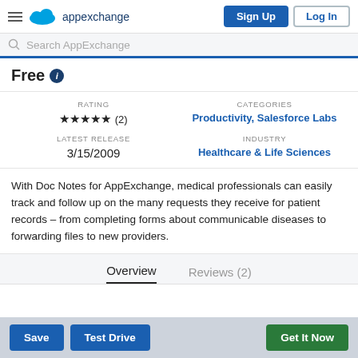Salesforce AppExchange — Sign Up | Log In
Search AppExchange
Free
| RATING | CATEGORIES | LATEST RELEASE | INDUSTRY |
| --- | --- | --- | --- |
| ★★★★★ (2) | Productivity, Salesforce Labs | 3/15/2009 | Healthcare & Life Sciences |
With Doc Notes for AppExchange, medical professionals can easily track and follow up on the many requests they receive for patient records – from completing forms about communicable diseases to forwarding files to new providers.
Overview   Reviews (2)
Save   Test Drive   Get It Now